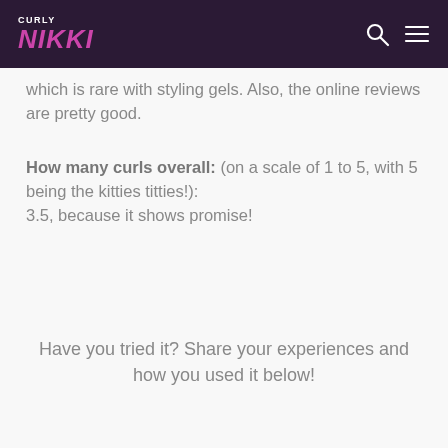CURLY NIKKI
which is rare with styling gels. Also, the online reviews are pretty good.
How many curls overall: (on a scale of 1 to 5, with 5 being the kitties titties!):
3.5, because it shows promise!
Have you tried it? Share your experiences and how you used it below!